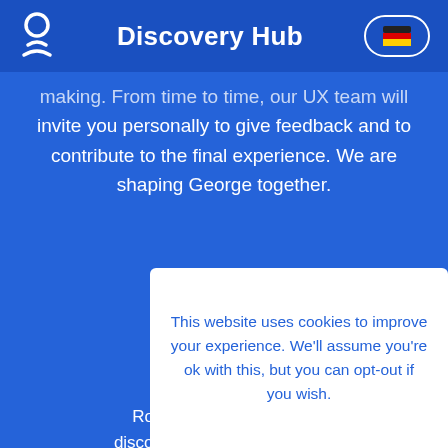Discovery Hub
making. From time to time, our UX team will invite you personally to give feedback and to contribute to the final experience. We are shaping George together.
[Figure (illustration): White people/network icon on blue background]
Network
Rome discovered network banking. Get invited to events, gain insights,
This website uses cookies to improve your experience. We'll assume you're ok with this, but you can opt-out if you wish.